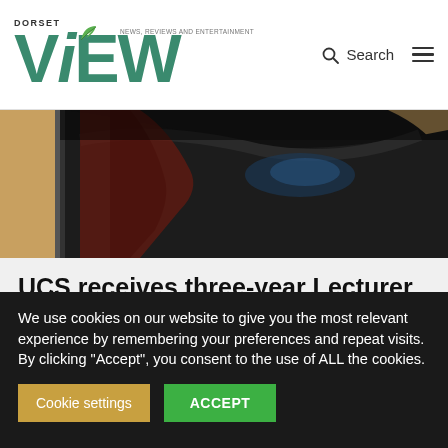DORSET ViEW — NEWS, REVIEWS AND ENTERTAINMENT
[Figure (photo): Close-up photograph of a dark horse, cropped to show the back/neck area against a warm background]
UCS receives three-year Lecturer Bursary from British Horse Foundation
Dorset, Education · May 21, 2020
We use cookies on our website to give you the most relevant experience by remembering your preferences and repeat visits. By clicking "Accept", you consent to the use of ALL the cookies.